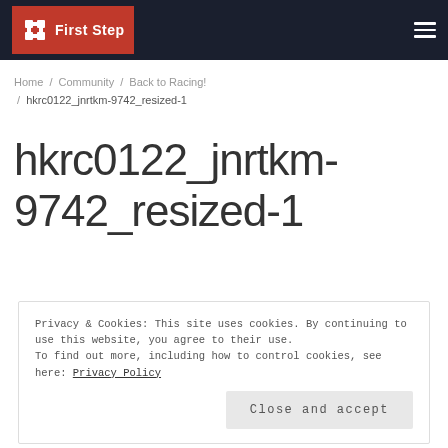First Step
Home / Community / Back to Racing! / hkrc0122_jnrtkm-9742_resized-1
hkrc0122_jnrtkm-9742_resized-1
Privacy & Cookies: This site uses cookies. By continuing to use this website, you agree to their use. To find out more, including how to control cookies, see here: Privacy Policy
Close and accept